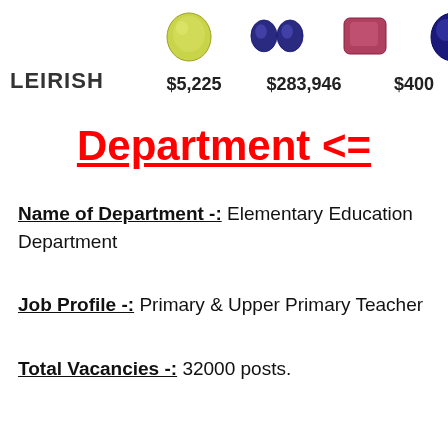[Figure (photo): Advertisement banner with gemstone images (yellow-green oval, two blue ovals, red/pink rectangle, blue oval) and prices: $5,225 / $283,946 / $400 / $93,733. Logo text: LEIRISH. Navigation arrows and close button visible.]
Department <=
Name of Department -: Elementary Education Department
Job Profile -: Primary & Upper Primary Teacher
Total Vacancies -: 32000 posts.